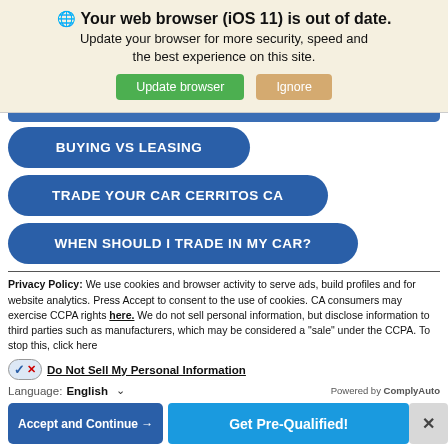🌐 Your web browser (iOS 11) is out of date. Update your browser for more security, speed and the best experience on this site.
Update browser
Ignore
BUYING VS LEASING
TRADE YOUR CAR CERRITOS CA
WHEN SHOULD I TRADE IN MY CAR?
Privacy Policy: We use cookies and browser activity to serve ads, build profiles and for website analytics. Press Accept to consent to the use of cookies. CA consumers may exercise CCPA rights here. We do not sell personal information, but disclose information to third parties such as manufacturers, which may be considered a "sale" under the CCPA. To stop this, click here
Do Not Sell My Personal Information
Language: English
Powered by ComplyAuto
Accept and Continue →
Get Pre-Qualified!
X